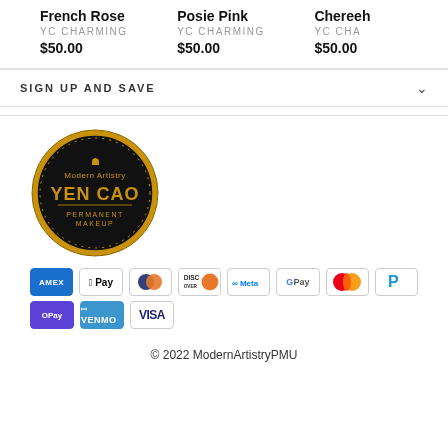French Rose
YC CHARMING
$50.00
Posie Pink
YC CHARMING
$50.00
Chereeh
YC CHA
$50.00
SIGN UP AND SAVE
[Figure (logo): Modern Artistry Yen Cao Permanent Makeup circular logo with gold ornamental border on black background]
[Figure (infographic): Payment method icons: Amex, Apple Pay, Diners, Discover, Meta, Google Pay, Mastercard, PayPal, OPay, Venmo, Visa]
© 2022 ModernArtistryPMU